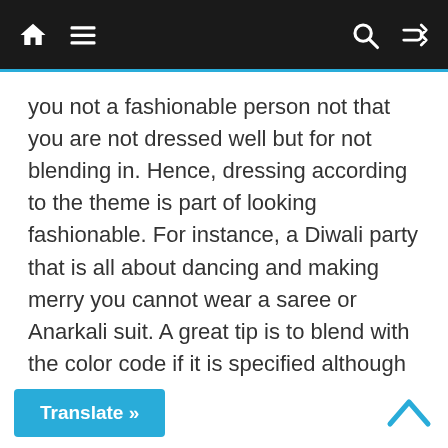Navigation bar with home, menu, search, and shuffle icons
you not a fashionable person not that you are not dressed well but for not blending in. Hence, dressing according to the theme is part of looking fashionable. For instance, a Diwali party that is all about dancing and making merry you cannot wear a saree or Anarkali suit. A great tip is to blend with the color code if it is specified although your attire with others at the party are different.
Translate »